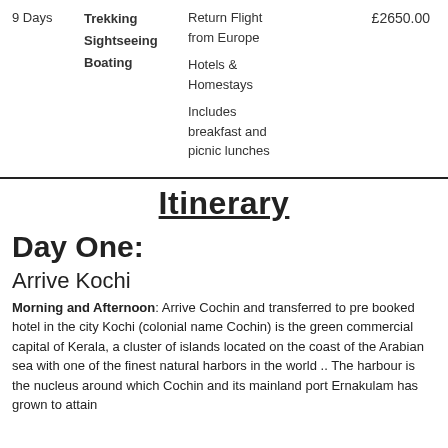9 Days
Trekking
Sightseeing
Boating
Return Flight from Europe
Hotels & Homestays
Includes breakfast and picnic lunches
£2650.00
Itinerary
Day One:
Arrive Kochi
Morning and Afternoon: Arrive Cochin and transferred to pre booked hotel in the city Kochi (colonial name Cochin) is the green commercial capital of Kerala, a cluster of islands located on the coast of the Arabian sea with one of the finest natural harbors in the world .. The harbour is the nucleus around which Cochin and its mainland port Ernakulam has grown to attain